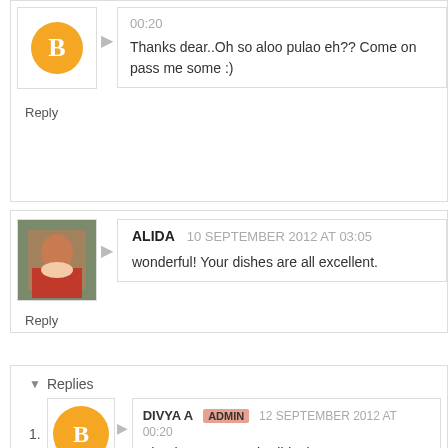00:20
Thanks dear..Oh so aloo pulao eh?? Come on pass me some :)
Reply
ALIDA  10 SEPTEMBER 2012 AT 03:05
wonderful! Your dishes are all excellent.
Reply
Replies
DIVYA A  ADMIN  12 SEPTEMBER 2012 AT 00:20
Thank you so much Alida :)
Reply